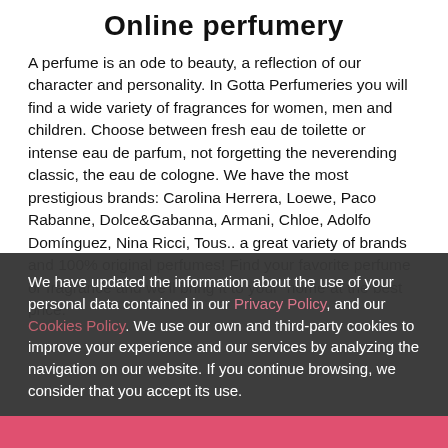Online perfumery
A perfume is an ode to beauty, a reflection of our character and personality. In Gotta Perfumeries you will find a wide variety of fragrances for women, men and children. Choose between fresh eau de toilette or intense eau de parfum, not forgetting the neverending classic, the eau de cologne. We have the most prestigious brands: Carolina Herrera, Loewe, Paco Rabanne, Dolce&Gabanna, Armani, Chloe, Adolfo Domínguez, Nina Ricci, Tous.. a great variety of brands and 100% original perfumes! Find your favorite perfume or fragrance and we'll bring it to your  home at the best price.
We have updated the information about the use of your personal data contained in our Privacy Policy, and our Cookies Policy. We use our own and third-party cookies to improve your experience and our services by analyzing the navigation on our website. If you continue browsing, we consider that you accept its use.
Accept